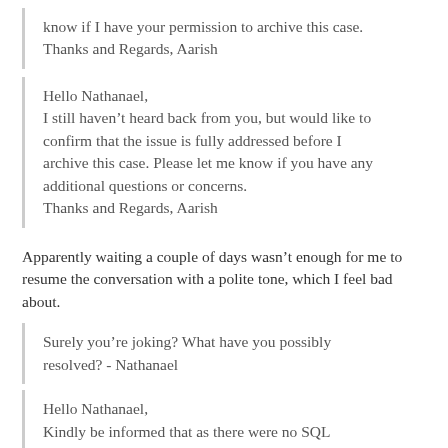know if I have your permission to archive this case. Thanks and Regards, Aarish
Hello Nathanael,
I still haven't heard back from you, but would like to confirm that the issue is fully addressed before I archive this case. Please let me know if you have any additional questions or concerns.
Thanks and Regards, Aarish
Apparently waiting a couple of days wasn't enough for me to resume the conversation with a polite tone, which I feel bad about.
Surely you're joking? What have you possibly resolved? - Nathanael
Hello Nathanael,
Kindly be informed that as there were no SQL database and storage account at the time when your